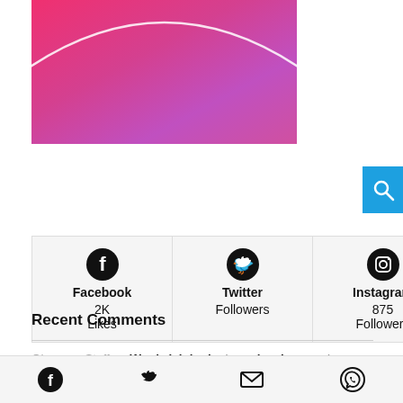[Figure (illustration): Pink-to-magenta gradient banner with a white arc curve at the bottom]
[Figure (infographic): Three social media cards: Facebook 2K Likes, Twitter Followers, Instagram 875 Followers]
Recent Comments
Observer Staff on Woolwich looks to make changes to noise
Facebook, Twitter, Email, WhatsApp share icons